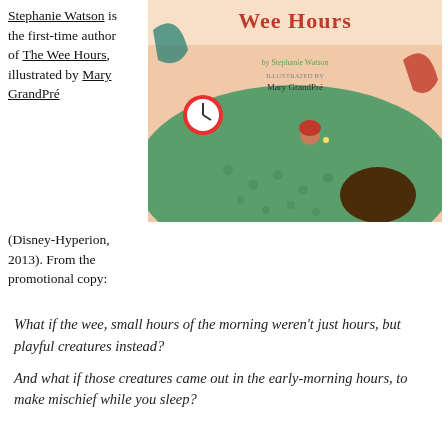Stephanie Watson is the first-time author of The Wee Hours, illustrated by Mary GrandPré (Disney-Hyperion, 2013). From the promotional copy:
[Figure (illustration): Book cover of 'The Wee Hours' by Stephanie Watson, illustrated by Mary GrandPré, showing a child sleeping under a green polka-dot blanket with fantastical creatures around them, published by Disney-Hyperion 2013.]
What if the wee, small hours of the morning weren't just hours, but playful creatures instead?
And what if those creatures came out in the early-morning hours, to make mischief while you sleep?